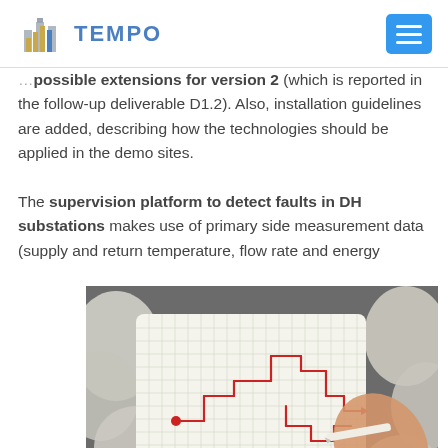TEMPO
possible extensions for version 2 (which is reported in the follow-up deliverable D1.2). Also, installation guidelines are added, describing how the technologies should be applied in the demo sites.
The supervision platform to detect faults in DH substations makes use of primary side measurement data (supply and return temperature, flow rate and energy
[Figure (photo): Photo of a hand drawing a circuit/flow diagram on grid paper, surrounded by crumpled paper balls]